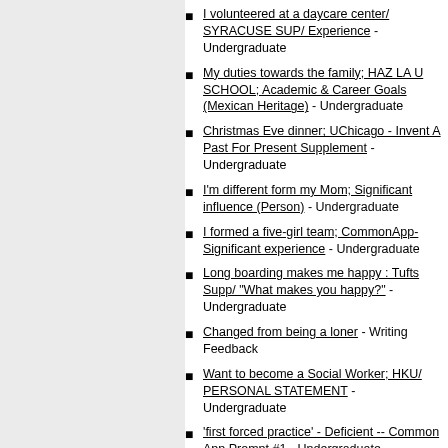I volunteered at a daycare center/ SYRACUSE SUP/ Experience - Undergraduate
My duties towards the family; HAZ LA U SCHOOL; Academic & Career Goals (Mexican Heritage) - Undergraduate
Christmas Eve dinner; UChicago - Invent A Past For Present Supplement - Undergraduate
I'm different form my Mom; Significant influence (Person) - Undergraduate
I formed a five-girl team; CommonApp- Significant experience - Undergraduate
Long boarding makes me happy : Tufts Supp/ "What makes you happy?" - Undergraduate
Changed from being a loner - Writing Feedback
Want to become a Social Worker; HKU/ PERSONAL STATEMENT - Undergraduate
'first forced practice' - Deficient -- Common App Prompt #1 - Undergraduate